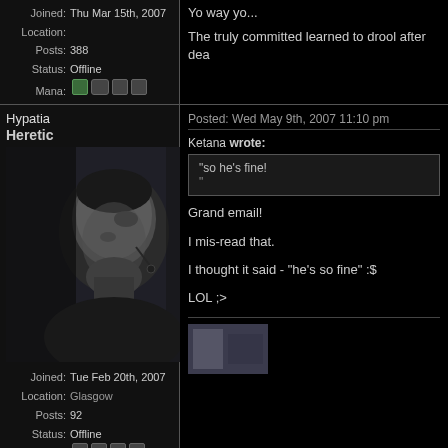Yo way yo...
The truly committed learned to drool after dea
Joined: Thu Mar 15th, 2007
Location:
Posts: 388
Status: Offline
Mana:
Hypatia
Heretic
[Figure (photo): Black and white close-up profile photo of an older man with headset]
Posted: Wed May 9th, 2007 11:10 pm
Ketana wrote:
"so he's fine!
Grand email!
I mis-read that.
I thought it said - "he's so fine" :$
LOL ;>
Joined: Tue Feb 20th, 2007
Location: Glasgow
Posts: 92
Status: Offline
Mana:
[Figure (photo): Small image thumbnail at bottom]